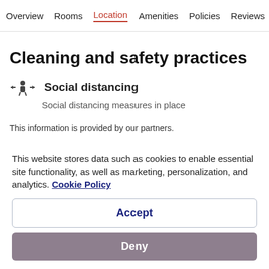Overview  Rooms  Location  Amenities  Policies  Reviews
Cleaning and safety practices
Social distancing
Social distancing measures in place
This information is provided by our partners.
This website stores data such as cookies to enable essential site functionality, as well as marketing, personalization, and analytics. Cookie Policy
Accept
Deny